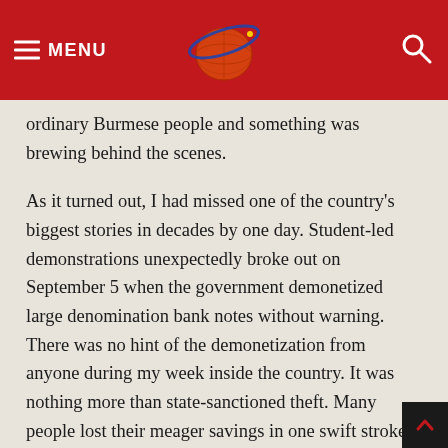MENU [logo] [search]
ordinary Burmese people and something was brewing behind the scenes.
As it turned out, I had missed one of the country's biggest stories in decades by one day. Student-led demonstrations unexpectedly broke out on September 5 when the government demonetized large denomination bank notes without warning. There was no hint of the demonetization from anyone during my week inside the country. It was nothing more than state-sanctioned theft. Many people lost their meager savings in one swift stroke.
In the intervening 20 years, the authorities seem to have learned almost nothing about public relations and financial…